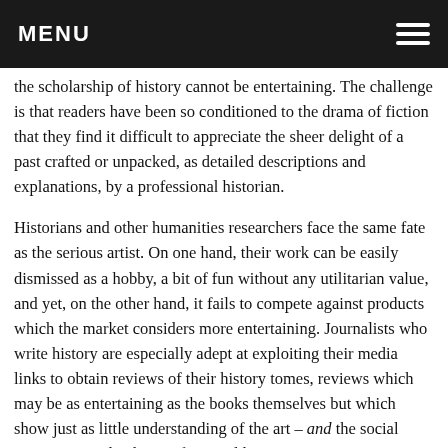MENU
the scholarship of history cannot be entertaining. The challenge is that readers have been so conditioned to the drama of fiction that they find it difficult to appreciate the sheer delight of a past crafted or unpacked, as detailed descriptions and explanations, by a professional historian.
Historians and other humanities researchers face the same fate as the serious artist. On one hand, their work can be easily dismissed as a hobby, a bit of fun without any utilitarian value, and yet, on the other hand, it fails to compete against products which the market considers more entertaining. Journalists who write history are especially adept at exploiting their media links to obtain reviews of their history tomes, reviews which may be as entertaining as the books themselves but which show just as little understanding of the art – and the social science – involved in professional history.
Two factors are critical to our future as professional historians. First, we need to close the gap between the practitioners of academic history and the practitioners of academically-based applied history. This will connect the upcoming generation in